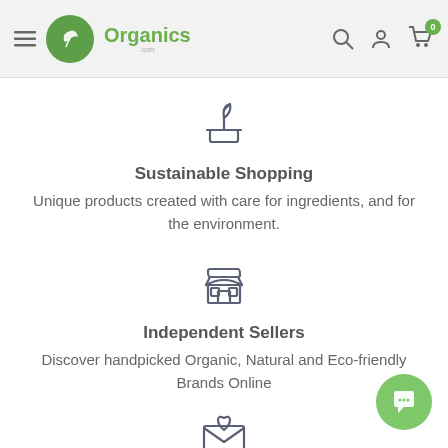Organics.com — Navigation header with hamburger menu, logo, search, account, and cart icons
[Figure (illustration): Plant sprout in a pot icon (line art, dark slate color)]
Sustainable Shopping
Unique products created with care for ingredients, and for the environment.
[Figure (illustration): Market/shop storefront icon (line art, dark slate color)]
Independent Sellers
Discover handpicked Organic, Natural and Eco-friendly Brands Online
[Figure (illustration): Envelope with heart icon (line art, dark slate color)]